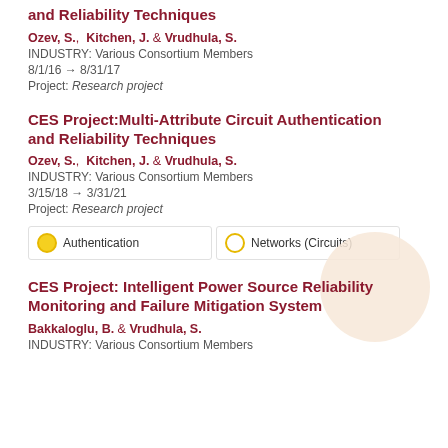and Reliability Techniques
Ozev, S., Kitchen, J. & Vrudhula, S.
INDUSTRY: Various Consortium Members
8/1/16 → 8/31/17
Project: Research project
CES Project:Multi-Attribute Circuit Authentication and Reliability Techniques
Ozev, S., Kitchen, J. & Vrudhula, S.
INDUSTRY: Various Consortium Members
3/15/18 → 3/31/21
Project: Research project
Authentication
Networks (Circuits)
CES Project: Intelligent Power Source Reliability Monitoring and Failure Mitigation System
Bakkaloglu, B. & Vrudhula, S.
INDUSTRY: Various Consortium Members